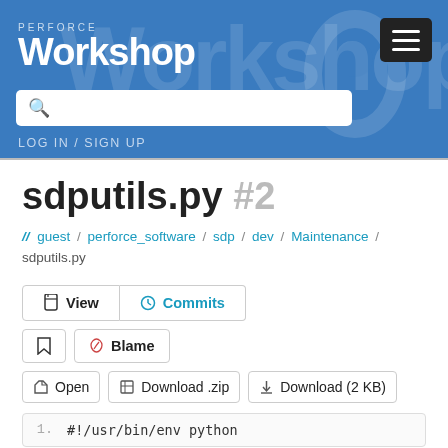PERFORCE Workshop
LOG IN / SIGN UP
sdputils.py #2
// guest / perforce_software / sdp / dev / Maintenance / sdputils.py
View | Commits
Bookmark | Blame
Open | Download .zip | Download (2 KB)
1.    #!/usr/bin/env python